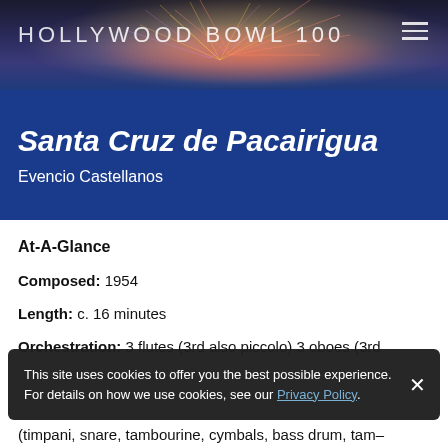HOLLYWOOD BOWL 100
Santa Cruz de Pacairigua
Evencio Castellanos
At-A-Glance
Composed: 1954
Length: c. 16 minutes
Orchestration: 3 flutes (3rd also piccolo) 3 oboes (3rd...
(timpani, snare, tambourine, cymbals, bass drum, tam-
This site uses cookies to offer you the best possible experience. For details on how we use cookies, see our Privacy Policy.